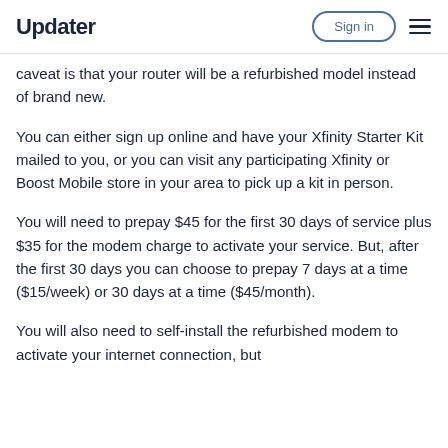Updater | Sign in
caveat is that your router will be a refurbished model instead of brand new.
You can either sign up online and have your Xfinity Starter Kit mailed to you, or you can visit any participating Xfinity or Boost Mobile store in your area to pick up a kit in person.
You will need to prepay $45 for the first 30 days of service plus $35 for the modem charge to activate your service. But, after the first 30 days you can choose to prepay 7 days at a time ($15/week) or 30 days at a time ($45/month).
You will also need to self-install the refurbished modem to activate your internet connection, but